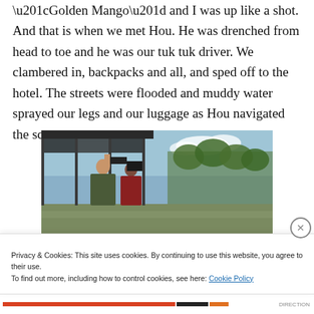“Golden Mango” and I was up like a shot. And that is when we met Hou. He was drenched from head to toe and he was our tuk tuk driver. We clambered in, backpacks and all, and sped off to the hotel. The streets were flooded and muddy water sprayed our legs and our luggage as Hou navigated the scene.
[Figure (photo): Two people standing under a covered structure, one holding a camera overhead. Background shows trees and open sky, possibly flooded ground visible.]
Privacy & Cookies: This site uses cookies. By continuing to use this website, you agree to their use.
To find out more, including how to control cookies, see here: Cookie Policy
Close and accept